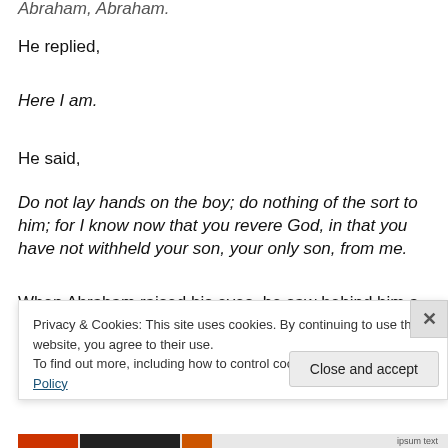Abraham, Abraham.
He replied,
Here I am.
He said,
Do not lay hands on the boy; do nothing of the sort to him; for I know now that you revere God, in that you have not withheld your son, your only son, from me.
When Abraham raised his eyes, he saw behind him a ram
Privacy & Cookies: This site uses cookies. By continuing to use this website, you agree to their use.
To find out more, including how to control cookies, see here: Cookie Policy
Close and accept